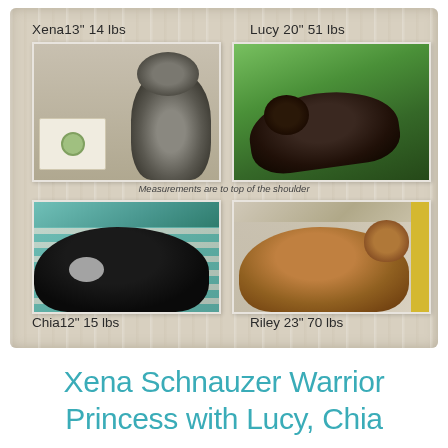[Figure (photo): Collage of four dog photos in a rustic white wood frame. Top-left: Xena, a miniature schnauzer, labeled 'Xena13" 14 lbs'. Top-right: Lucy, a dark brindle dog running on grass, labeled 'Lucy 20" 51 lbs'. Center caption: 'Measurements are to top of the shoulder'. Bottom-left: Chia, a black and white dog resting on a teal striped chair, labeled 'Chia12" 15 lbs'. Bottom-right: Riley, a brown dog lying on a patterned mat near a yellow door, labeled 'Riley 23" 70 lbs'.]
Xena Schnauzer Warrior Princess with Lucy, Chia